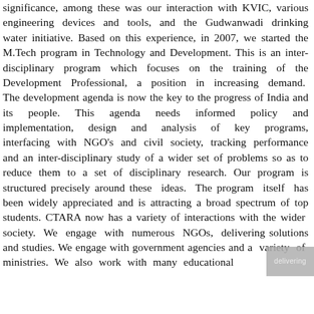significance, among these was our interaction with KVIC, various engineering devices and tools, and the Gudwanwadi drinking water initiative. Based on this experience, in 2007, we started the M.Tech program in Technology and Development. This is an inter-disciplinary program which focuses on the training of the Development Professional, a position in increasing demand. The development agenda is now the key to the progress of India and its people. This agenda needs informed policy and implementation, design and analysis of key programs, interfacing with NGO's and civil society, tracking performance and an inter-disciplinary study of a wider set of problems so as to reduce them to a set of disciplinary research. Our program is structured precisely around these ideas. The program itself has been widely appreciated and is attracting a broad spectrum of top students. CTARA now has a variety of interactions with the wider society. We engage with numerous NGOs, delivering solutions and studies. We engage with government agencies and a variety of ministries. We also work with many educational